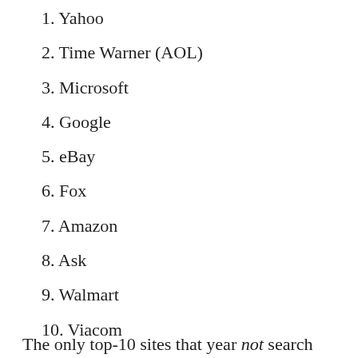1. Yahoo
2. Time Warner (AOL)
3. Microsoft
4. Google
5. eBay
6. Fox
7. Amazon
8. Ask
9. Walmart
10. Viacom
The only top-10 sites that year not search